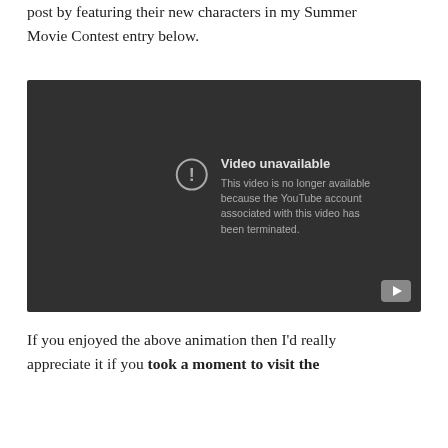post by featuring their new characters in my Summer Movie Contest entry below.
[Figure (screenshot): YouTube video player showing 'Video unavailable' error message with icon, text reads: 'This video is no longer available because the YouTube account associated with this video has been terminated.' YouTube play button icon in bottom right corner.]
If you enjoyed the above animation then I'd really appreciate it if you took a moment to visit the